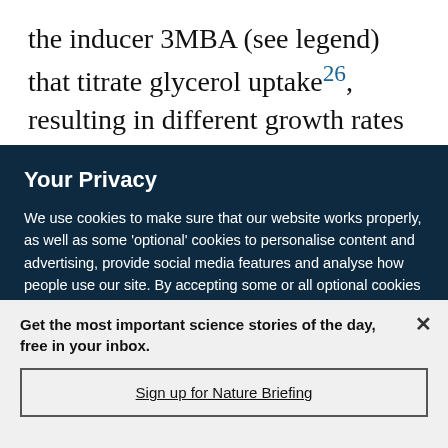the inducer 3MBA (see legend) that titrate glycerol uptake²⁶, resulting in different growth rates (Supplementary Table 2). The experiments
Your Privacy
We use cookies to make sure that our website works properly, as well as some 'optional' cookies to personalise content and advertising, provide social media features and analyse how people use our site. By accepting some or all optional cookies you give consent to the processing of your personal data, including transfer to third parties, some in countries outside of the European Economic Area that do not offer the same data protection standards as the country where you live. You can decide which optional cookies to accept by clicking on 'Manage Settings', where you can
Get the most important science stories of the day, free in your inbox.
Sign up for Nature Briefing